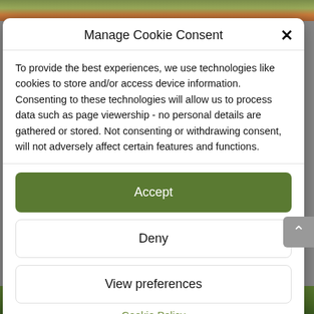[Figure (photo): Outdoor garden/landscape photo strip at the top of the page]
Manage Cookie Consent
To provide the best experiences, we use technologies like cookies to store and/or access device information. Consenting to these technologies will allow us to process data such as page viewership - no personal details are gathered or stored. Not consenting or withdrawing consent, will not adversely affect certain features and functions.
Accept
Deny
View preferences
Cookie Policy
[Figure (photo): Outdoor garden/landscape photo strip at the bottom of the page]